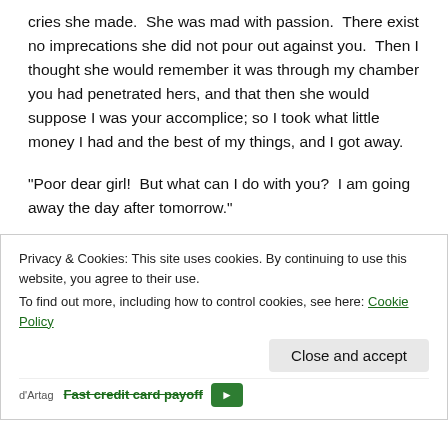cries she made.  She was mad with passion.  There exist no imprecations she did not pour out against you.  Then I thought she would remember it was through my chamber you had penetrated hers, and that then she would suppose I was your accomplice; so I took what little money I had and the best of my things, and I got away.
“Poor dear girl!  But what can I do with you?  I am going away the day after tomorrow.”
“Do what you please, Monsieur Chevalier.  Help me out of
Privacy & Cookies: This site uses cookies. By continuing to use this website, you agree to their use.
To find out more, including how to control cookies, see here: Cookie Policy
Close and accept
Fast credit card payoff
d’Artag